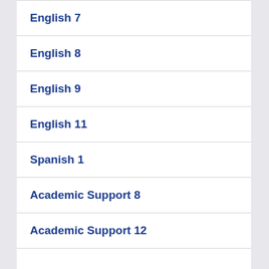English 7
English 8
English 9
English 11
Spanish 1
Academic Support 8
Academic Support 12